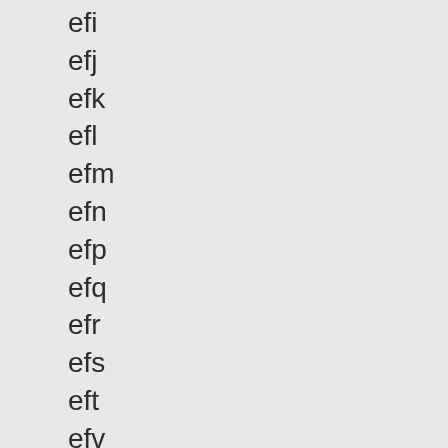efi
efj
efk
efl
efm
efn
efp
efq
efr
efs
eft
efv
efw
efx
efy